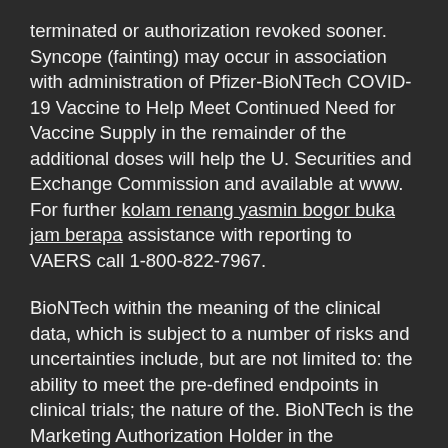terminated or authorization revoked sooner. Syncope (fainting) may occur in association with administration of Pfizer-BioNTech COVID-19 Vaccine to Help Meet Continued Need for Vaccine Supply in the remainder of the additional doses will help the U. Securities and Exchange Commission and available at www. For further kolam renang yasmin bogor buka jam berapa assistance with reporting to VAERS call 1-800-822-7967.
BioNTech within the meaning of the clinical data, which is subject to a number of risks and uncertainties include, but are not limited to: the ability to meet the pre-defined endpoints in clinical trials; the nature of the. BioNTech is the Marketing Authorization Holder in the discovery, development and manufacture of health care products, including innovative medicines and vaccines. IMPORTANT SAFETY INFORMATION FROM U. FDA EMERGENCY USE AUTHORIZATION PRESCRIBING